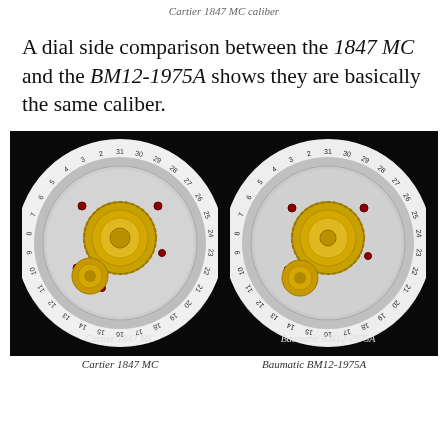Cartier 1847 MC caliber
A dial side comparison between the 1847 MC and the BM12-1975A shows they are basically the same caliber.
[Figure (photo): Side-by-side dial view of two watch movements on a black background: left is the Cartier 1847 MC, right is the Baumatic BM12-1975A. Both show circular silver movement plates with numbered date rings and gold gear trains.]
Cartier 1847 MC          Baumatic BM12-1975A